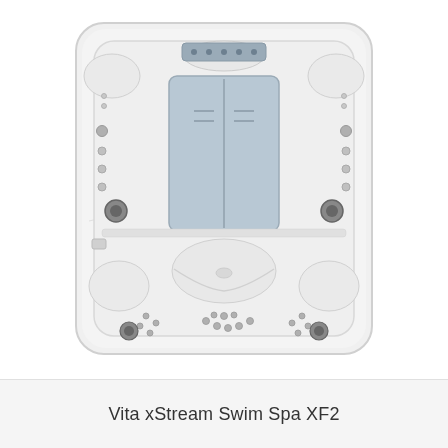[Figure (illustration): Top-down view of a Vita xStream Swim Spa XF2. The spa is depicted as a rounded rectangular shell in white/light grey marble-like acrylic with two main zones: an upper swimming zone with a large grey rectangular cover/panel in the center featuring jets on both sides, and a lower hot tub zone with seating areas, multiple jet positions, and footwell jets. The unit has four corner seat recesses and various jet and accessory positions visible from above.]
Vita xStream Swim Spa XF2